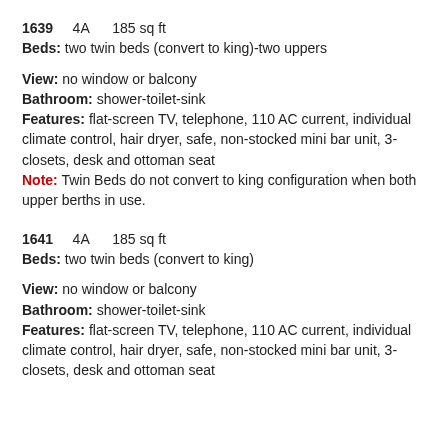1639   4A   185 sq ft
Beds: two twin beds (convert to king)-two uppers
View: no window or balcony
Bathroom: shower-toilet-sink
Features: flat-screen TV, telephone, 110 AC current, individual climate control, hair dryer, safe, non-stocked mini bar unit, 3-closets, desk and ottoman seat
Note: Twin Beds do not convert to king configuration when both upper berths in use.
1641   4A   185 sq ft
Beds: two twin beds (convert to king)
View: no window or balcony
Bathroom: shower-toilet-sink
Features: flat-screen TV, telephone, 110 AC current, individual climate control, hair dryer, safe, non-stocked mini bar unit, 3-closets, desk and ottoman seat